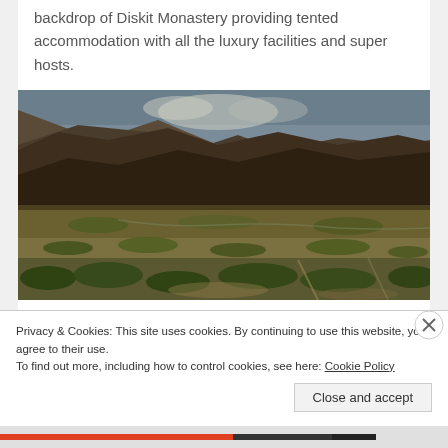backdrop of Diskit Monastery providing tented accommodation with all the luxury facilities and super hosts.
[Figure (photo): Aerial landscape photograph showing a wide mountain valley with rugged brown mountains in the background, a flat valley floor with green patches and dry terrain, and a river running through, taken from a high vantage point in what appears to be Nubra Valley, Ladakh, India.]
Advertisements
Privacy & Cookies: This site uses cookies. By continuing to use this website, you agree to their use.
To find out more, including how to control cookies, see here: Cookie Policy
Close and accept